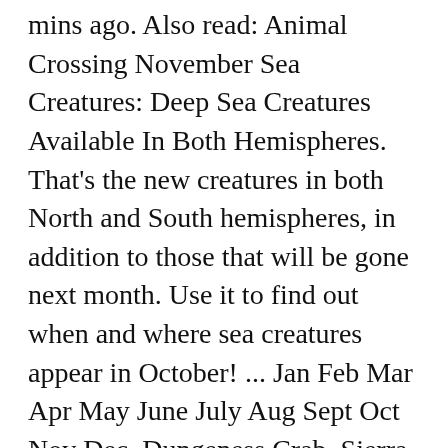mins ago. Also read: Animal Crossing November Sea Creatures: Deep Sea Creatures Available In Both Hemispheres. That's the new creatures in both North and South hemispheres, in addition to those that will be gone next month. Use it to find out when and where sea creatures appear in October! ... Jan Feb Mar Apr May June July Aug Sept Oct Nov Dec. Dungeness Crab. Sierra Mitchell Send an email 59 mins ago. Acorn Barnacale Northern Seasonality. *Offensive, insulting or inappropriate use of forum may lead to ban/restriction. Animal Crossing: New Horizons Sea Creatures November In November (Southern Hemisphere) There are 3 sea creatures leaving your Animal Crossing: New Horizons island after November when